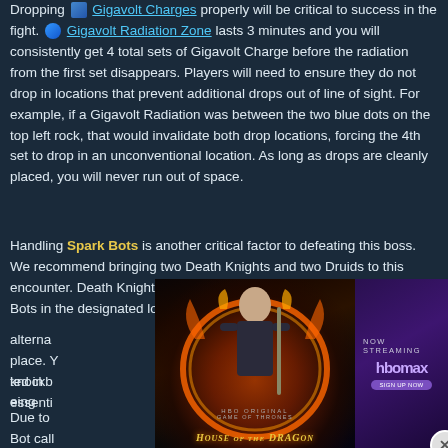Dropping Gigavolt Charges properly will be critical to success in the fight. Gigavolt Radiation Zone lasts 3 minutes and you will consistently get 4 total sets of Gigavolt Charge before the radiation from the first set disappears. Players will need to ensure they do not drop in locations that prevent additional drops out of line of sight. For example, if a Gigavolt Radiation was between the two blue dots on the top left rock, that would invalidate both drop locations, forcing the 4th set to drop in an unconventional location. As long as drops are cleanly placed, you will never run out of space.
Handling Spark Bots is another critical factor to defeating this boss. We recommend bringing two Death Knights and two Druids to this encounter. Death Knights can alternate Death Grips to place Spark Bots in the designated locations. The two Druids can alternate [text partially obscured] ted in place. Y[text partially obscured] knockb[text partially obscured] eing essenti[text partially obscured]
[Figure (photo): Advertisement overlay showing House of the Dragon HBO Original series promotional image with a bald figure surrounded by fire on the left, and an HBO Max 'Now Streaming' purple panel on the right. A close button is visible in the lower right.]
Due to [obscured] Spark Bot call[obscured] lete the shu[obscured] Spark Bot to b[obscured] s both [obscured]